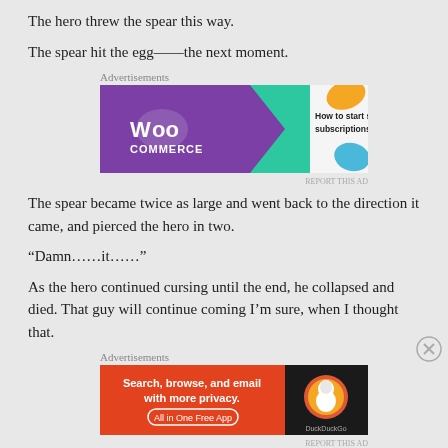The hero threw the spear this way.
The spear hit the egg——the next moment.
[Figure (other): WooCommerce advertisement banner: purple background with WooCommerce logo and teal arrow, text 'How to start selling subscriptions online' with orange and blue abstract shapes]
The spear became twice as large and went back to the direction it came, and pierced the hero in two.
“Damn……it……”
As the hero continued cursing until the end, he collapsed and died. That guy will continue coming I’m sure, when I thought that.
[Figure (other): DuckDuckGo advertisement: orange/dark background, text 'Search, browse, and email with more privacy. All in One Free App' with DuckDuckGo duck logo]